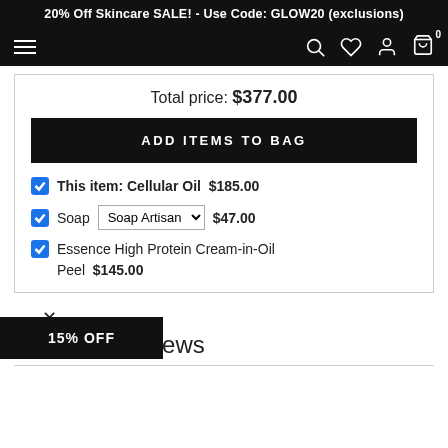20% Off Skincare SALE! - Use Code: GLOW20 (exclusions)
Total price: $377.00
ADD ITEMS TO BAG
This item: Cellular Oil  $185.00
Soap  Soap Artisan  $47.00
Essence High Protein Cream-in-Oil
Peel  $145.00
lular Oil Reviews
15% OFF